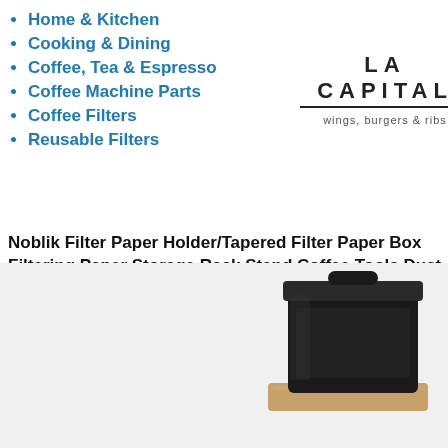Home & Kitchen
Cooking & Dining
Coffee, Tea & Espresso
Coffee Machine Parts
Coffee Filters
Reusable Filters
[Figure (logo): LA CAPITAL logo with tagline 'wings, burgers & ribs']
Noblik Filter Paper Holder/Tapered Filter Paper Box Filtering Paper Storage Rack Stand Coffee Tools Dust-Proof with Cover
Cheap Bargain Great prices on your favourite Home brands Official Online Site- Free Return. and free delivery on eligible orders
[Figure (photo): Product photo of a black coffee filter paper holder/box with wooden base visible in bottom right corner of the page]